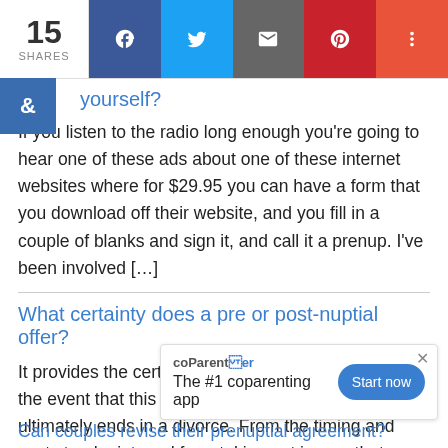15 SHARES [social share bar: Facebook, Twitter, Email, Pinterest, More]
…yourself?
If you listen to the radio long enough you're going to hear one of these ads about one of these internet websites where for $29.95 you can have a form that you download off their website, and you fill in a couple of blanks and sign it, and call it a prenup. I've been involved […]
What certainty does a pre or post-nuptial offer?
It provides the certainty of what's going to happen in the event that this marriage breaks down and ultimately ends in a divorce. From the timing and cost standpoint, and from taking out issues that are going to be in controversy between the parties, we really don't see that there's any downs…
[Figure (screenshot): Ad banner for coParenter app with text 'The #1 coparenting app' and 'Start now' button]
Can couples revise their prenuptial agreement?